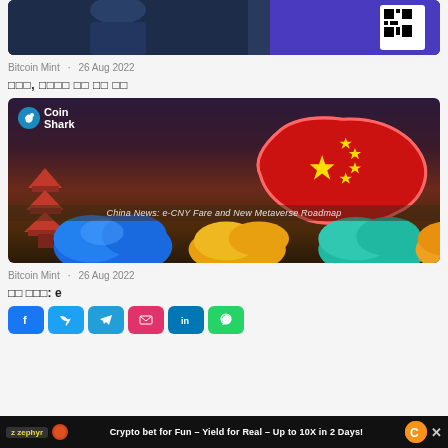[Figure (photo): Top portion of a news article image showing a person in a dark jacket on the left and a QR code on a purple background on the right]
Bitcoin Mint   26 Aug 2022
한국어 제목 텍스트 (Korean headline, garbled boxes)
[Figure (photo): CoinShark article image showing China map outlined in red with Chinese flag colors and stars, a pagoda on the left, decorative clouds at the bottom, and text 'China News: e-CNY Fare and New Metaverse Roadmap']
Bitcoin Mint   26 Aug 2022
중국 뉴스: e (Korean headline with 'e', garbled boxes) with social share buttons: Facebook, Twitter, Telegram, Email, LinkedIn, WhatsApp
[Figure (screenshot): Advertisement banner: Zephyr - Crypto bet for Fun - Yield for Real - Up to 10X in 2 Days!]